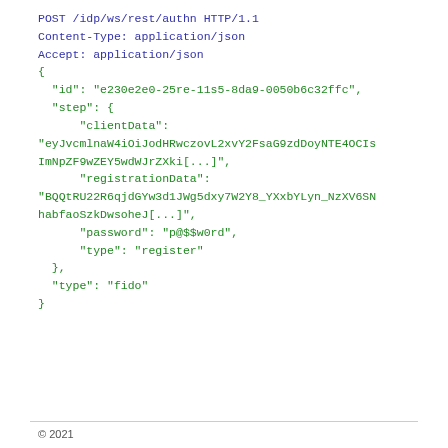POST /idp/ws/rest/authn HTTP/1.1
Content-Type: application/json
Accept: application/json
{
  "id": "e230e2e0-25re-11s5-8da9-0050b6c32ffc",
  "step": {
      "clientData":
"eyJvcmlnaW4iOiJodHRwczovL2xvY2FsaG9zdDoyNTE0OCIsImNpZF9wZEY5wdWJrZXki[...]",
      "registrationData":
"BQQtRU22R6qjdGYw3d1JWg5dxy7W2Y8_YXxbYLyn_NzXV6SNhabfaoSzkDwsoheJ[...]",
      "password": "p@$$w0rd",
      "type": "register"
  },
  "type": "fido"
}
© 2021